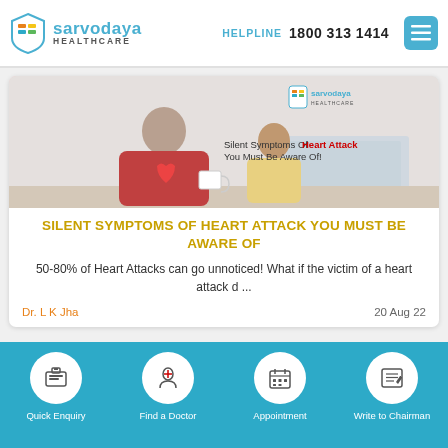[Figure (logo): Sarvodaya Healthcare logo with shield icon]
HELPLINE  1800 313 1414
[Figure (screenshot): Sarvodaya Healthcare banner image showing a man and girl with text: Silent Symptoms Of Heart Attack You Must Be Aware Of]
SILENT SYMPTOMS OF HEART ATTACK YOU MUST BE AWARE OF
50-80% of Heart Attacks can go unnoticed! What if the victim of a heart attack d ...
Dr. L K Jha
20 Aug 22
Quick Enquiry
Find a Doctor
Appointment
Write to Chairman